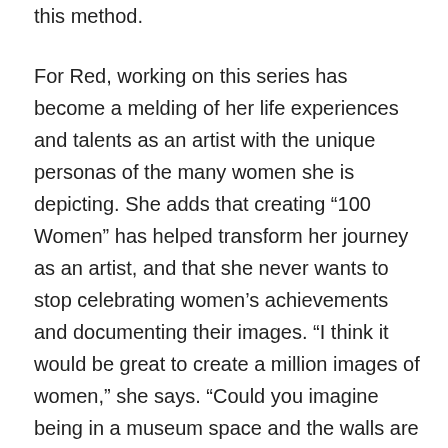this method.
For Red, working on this series has become a melding of her life experiences and talents as an artist with the unique personas of the many women she is depicting. She adds that creating “100 Women” has helped transform her journey as an artist, and that she never wants to stop celebrating women’s achievements and documenting their images. “I think it would be great to create a million images of women,” she says. “Could you imagine being in a museum space and the walls are covered with women’s faces from floor to ceiling?”